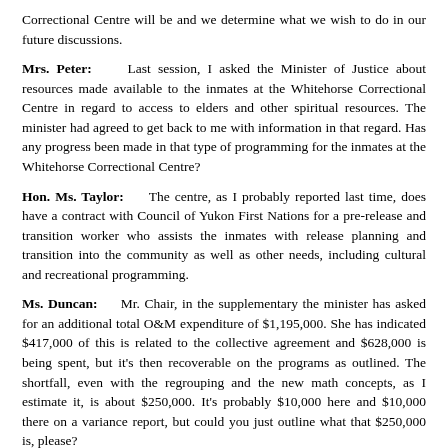Correctional Centre will be and we determine what we wish to do in our future discussions.
Mrs. Peter: Last session, I asked the Minister of Justice about resources made available to the inmates at the Whitehorse Correctional Centre in regard to access to elders and other spiritual resources. The minister had agreed to get back to me with information in that regard. Has any progress been made in that type of programming for the inmates at the Whitehorse Correctional Centre?
Hon. Ms. Taylor: The centre, as I probably reported last time, does have a contract with Council of Yukon First Nations for a pre-release and transition worker who assists the inmates with release planning and transition into the community as well as other needs, including cultural and recreational programming.
Ms. Duncan: Mr. Chair, in the supplementary the minister has asked for an additional total O&M expenditure of $1,195,000. She has indicated $417,000 of this is related to the collective agreement and $628,000 is being spent, but it's then recoverable on the programs as outlined. The shortfall, even with the regrouping and the new math concepts, as I estimate it, is about $250,000. It's probably $10,000 here and $10,000 there on a variance report, but could you just outline what that $250,000 is, please?
Hon. Ms. Taylor: It is a reflection of the access to justice agreement as well as the agreement with the Solicitor General's office with respect to northern policing. $340,000 for the RCMP to support northern policing needs, as well as the access to justice — we have $150,000 as well toward the crime prevention and victim services trust fund, and $288,000, legal services — again that's access to justice agreement as well as the collective agreement increases. I believe that covers it.